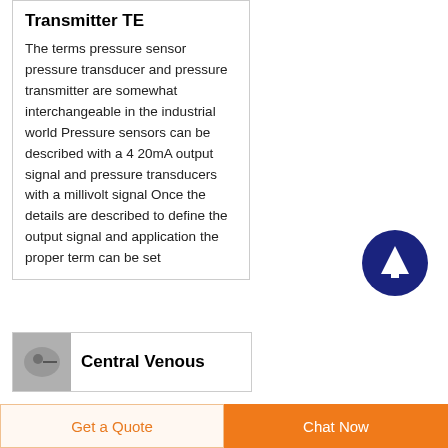Transmitter TE
The terms pressure sensor pressure transducer and pressure transmitter are somewhat interchangeable in the industrial world Pressure sensors can be described with a 4 20mA output signal and pressure transducers with a millivolt signal Once the details are described to define the output signal and application the proper term can be set
[Figure (other): Dark blue circular button with white upward arrow icon]
Central Venous
[Figure (photo): Small gray thumbnail image]
Get a Quote
Chat Now